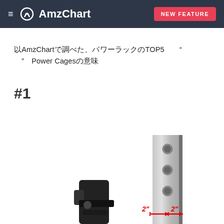≡ AmzChart  NEW FEATURE
以AmzChartで調べた、パワーラックのTOP5 “” Power Cagesの意味
#1
[Figure (photo): Product photo of a power cage/rack component showing metal uprights with holes and red arrows indicating 2" x 2" spacing measurements]